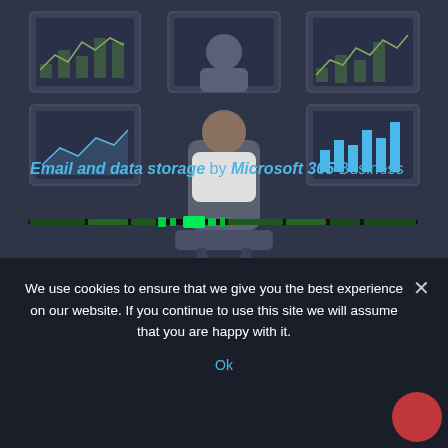[Figure (illustration): Dark-themed illustration of a person sitting in an office chair viewed from behind, facing multiple monitor screens displaying charts and graphs. The scene has a blue-gray color palette. Below the person is a dark progress/loading bar with green indicators in the center.]
Email and data storage by Microsoft 365 Business
We use cookies to ensure that we give you the best experience on our website. If you continue to use this site we will assume that you are happy with it.
Ok